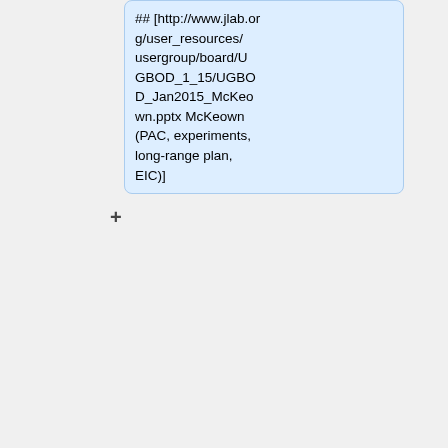## [http://www.jlab.org/user_resources/usergroup/board/UGBOD_1_15/UGBOD_Jan2015_McKeown.pptx McKeown (PAC, experiments, long-range plan, EIC)]
## [http://www.jlab.org/user_resources/usergroup/board/UGBOD_1_15/UGBOD_Jan2015_Lung.pdf Lung (12 GeV upgrade status)]
## [http://www.jlab.org/user_resources/usergroup/board/UGBOD_1_15/UGBOD_Jan2015_Freybe